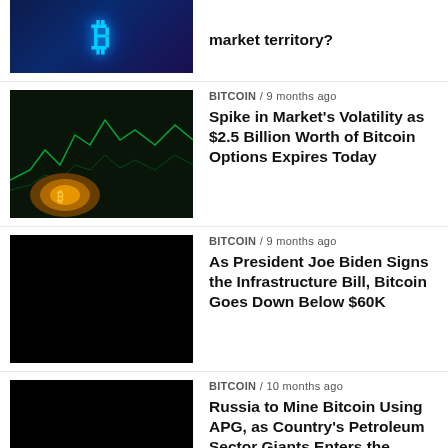[Figure (photo): Bitcoin logo glowing in blue/teal on dark background (partial, top cut off)]
market territory?
[Figure (photo): Dark image with cryptocurrency chart lines and orange bitcoin coin glow]
BITCOIN / 9 months ago
Spike in Market's Volatility as $2.5 Billion Worth of Bitcoin Options Expires Today
[Figure (photo): Black image placeholder]
BITCOIN / 9 months ago
As President Joe Biden Signs the Infrastructure Bill, Bitcoin Goes Down Below $60K
[Figure (photo): Black image placeholder]
BITCOIN / 10 months ago
Russia to Mine Bitcoin Using APG, as Country's Petroleum Sector Giants Enters the Market.
[Figure (photo): Black image placeholder]
BITCOIN / 10 months ago
Bitcoin tops $67k, What You Need to Know Before Investing in Bitcoin
[Figure (photo): Black image placeholder (partial, bottom cut off)]
BITCOIN / 10 months ago